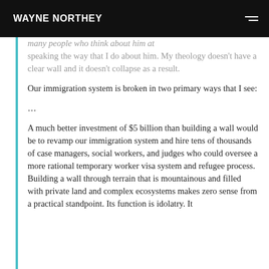WAYNE NORTHEY
many people who think about him at speaking the way that I do about him. My theology doesn't have a clear wall and it doesn't collapse as a result.
Our immigration system is broken in two primary ways that I see:
…
A much better investment of $5 billion than building a wall would be to revamp our immigration system and hire tens of thousands of case managers, social workers, and judges who could oversee a more rational temporary worker visa system and refugee process. Building a wall through terrain that is mountainous and filled with private land and complex ecosystems makes zero sense from a practical standpoint. Its function is idolatry. It